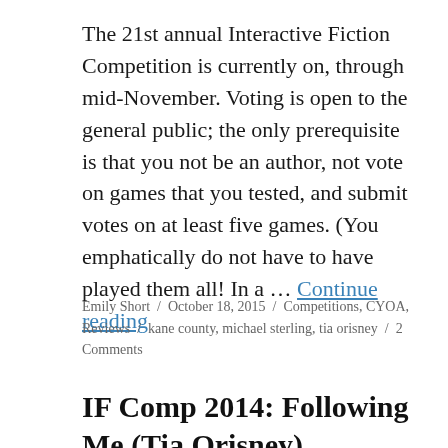The 21st annual Interactive Fiction Competition is currently on, through mid-November. Voting is open to the general public; the only prerequisite is that you not be an author, not vote on games that you tested, and submit votes on at least five games. (You emphatically do not have to have played them all! In a … Continue reading
Emily Short / October 18, 2015 / Competitions, CYOA, Reviews / kane county, michael sterling, tia orisney / 2 Comments
IF Comp 2014: Following Me (Tia Orisney)